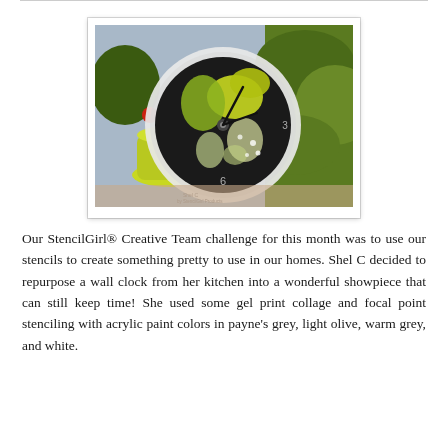[Figure (photo): A decorative wall clock with a stenciled face featuring black, yellow-green, and white botanical/floral patterns, set outdoors among potted plants. The clock has a translucent/frosted rim. Small watermark text reads 'Shel C by StencilGirl Products'.]
Our StencilGirl® Creative Team challenge for this month was to use our stencils to create something pretty to use in our homes. Shel C decided to repurpose a wall clock from her kitchen into a wonderful showpiece that can still keep time! She used some gel print collage and focal point stenciling with acrylic paint colors in payne's grey, light olive, warm grey, and white.